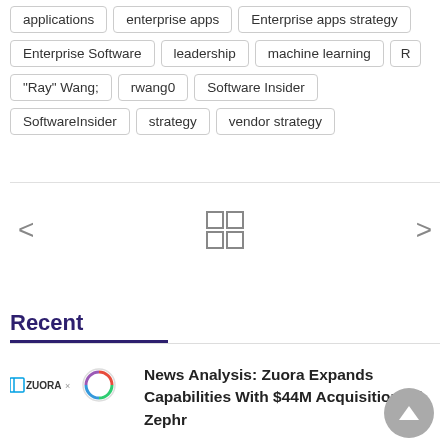applications
enterprise apps
Enterprise apps strategy
Enterprise Software
leadership
machine learning
R
"Ray" Wang;
rwang0
Software Insider
SoftwareInsider
strategy
vendor strategy
[Figure (other): Navigation arrows (left < and right >) with a 2x2 grid icon in the center]
Recent
News Analysis: Zuora Expands Capabilities With $44M Acquisition Of Zephr